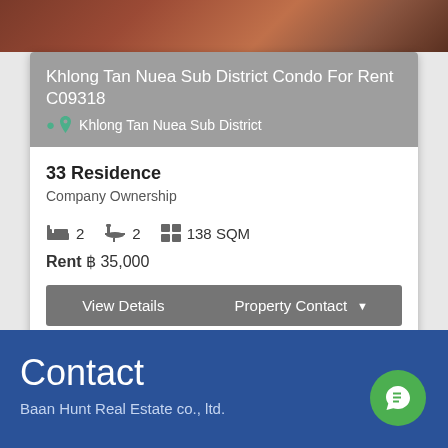[Figure (photo): Top strip showing partial photo of a building exterior in reddish-brown tones]
Khlong Tan Nuea Sub District Condo For Rent C09318
Khlong Tan Nuea Sub District
33 Residence
Company Ownership
2 bedrooms  2 bathrooms  138 SQM
Rent ฿ 35,000
View Details   Property Contact
Contact
Baan Hunt Real Estate co., ltd.